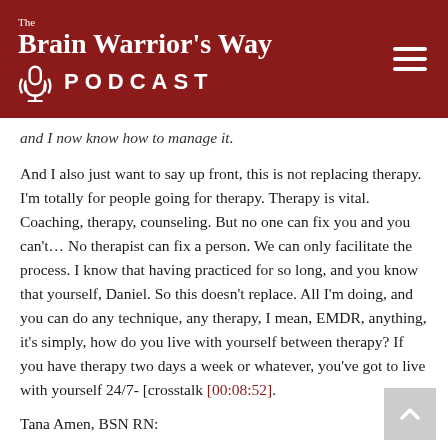The Brain Warrior's Way PODCAST
and I now know how to manage it.
And I also just want to say up front, this is not replacing therapy. I'm totally for people going for therapy. Therapy is vital. Coaching, therapy, counseling. But no one can fix you and you can't… No therapist can fix a person. We can only facilitate the process. I know that having practiced for so long, and you know that yourself, Daniel. So this doesn't replace. All I'm doing, and you can do any technique, any therapy, I mean, EMDR, anything, it's simply, how do you live with yourself between therapy? If you have therapy two days a week or whatever, you've got to live with yourself 24/7- [crosstalk [00:08:52].
Tana Amen, BSN RN:
You need tools. You need tools in your tool chest.